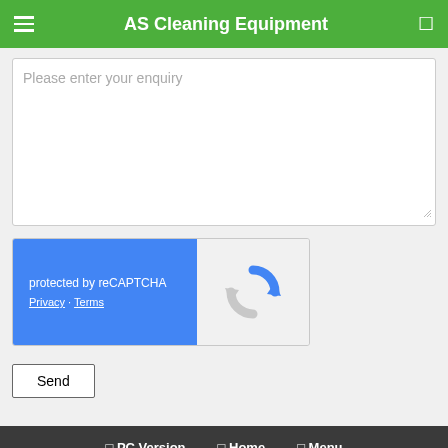AS Cleaning Equipment
Please enter your enquiry
[Figure (screenshot): reCAPTCHA widget with blue left panel showing 'protected by reCAPTCHA' and Privacy/Terms links, and a grey right panel with the reCAPTCHA logo]
Send
PC Version   Home   Menu
© 2015 - 2022 AS Cleaning Equipment (JM0587461-D)
Privacy Policy
Powered by NEWPAGES
Visitors: 3307485